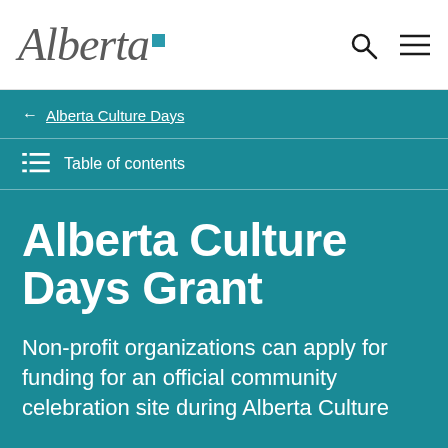Alberta [logo]
← Alberta Culture Days
Table of contents
Alberta Culture Days Grant
Non-profit organizations can apply for funding for an official community celebration site during Alberta Culture